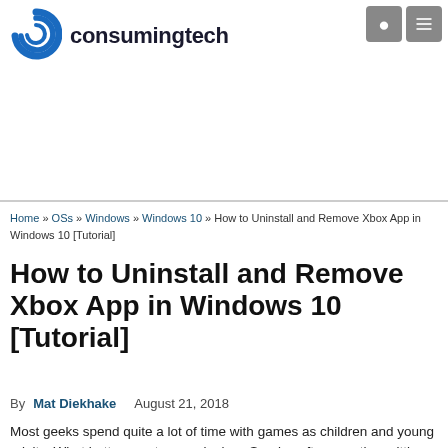[Figure (logo): consumingtech website logo with spiral graphic and text]
consumingtech (navigation icons: search, menu)
Home » OSs » Windows » Windows 10 » How to Uninstall and Remove Xbox App in Windows 10 [Tutorial]
How to Uninstall and Remove Xbox App in Windows 10 [Tutorial]
By Mat Diekhake   August 21, 2018
Most geeks spend quite a lot of time with games as children and young adults. What better way to spend a lazy Sunday afternoon than sitting on a bed, keeping your body as still as it can be, and